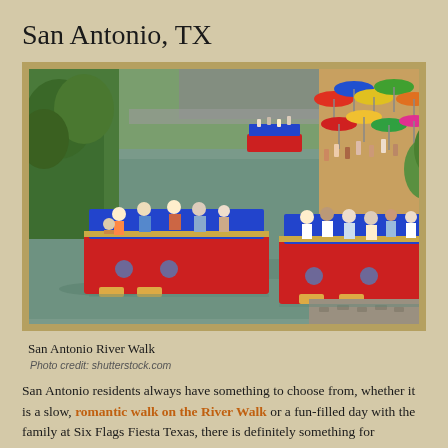San Antonio, TX
[Figure (photo): Aerial view of San Antonio River Walk with red and blue tour boats on the river, colorful umbrellas and diners on the right bank, lush green trees on the left.]
San Antonio River Walk
Photo credit: shutterstock.com
San Antonio residents always have something to choose from, whether it is a slow, romantic walk on the River Walk or a fun-filled day with the family at Six Flags Fiesta Texas, there is definitely something for everyone. The Alamo and Majestic Theatre are also popular attractions, while less famous spots, such as Natural Bridge Wildlife Ranch and Medina Lake are